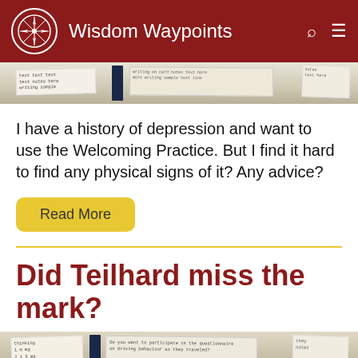Wisdom Waypoints
[Figure (photo): Top partial photo strip showing handwritten notes on paper cards]
I have a history of depression and want to use the Welcoming Practice. But I find it hard to find any physical signs of it? Any advice?
Read More
Did Teilhard miss the mark?
[Figure (photo): Bottom partial photo strip showing handwritten notes on paper cards with a dark object]